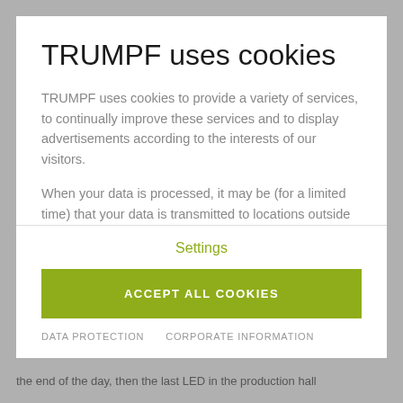TRUMPF uses cookies
TRUMPF uses cookies to provide a variety of services, to continually improve these services and to display advertisements according to the interests of our visitors.
When your data is processed, it may be (for a limited time) that your data is transmitted to locations outside of the EEA, for example, to the United States of
Settings
ACCEPT ALL COOKIES
DATA PROTECTION   CORPORATE INFORMATION
the end of the day, then the last LED in the production hall